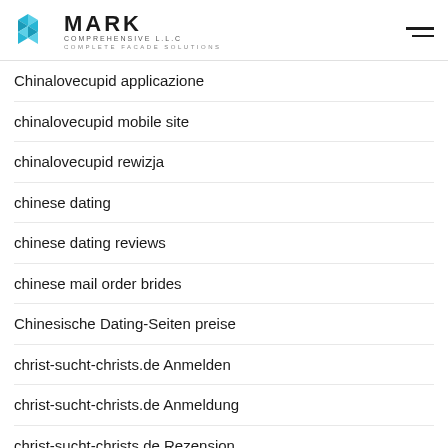MARK COMPREHENSIVE L.L.C — COMPLETE FACADE SOLUTIONS
Chinalovecupid applicazione
chinalovecupid mobile site
chinalovecupid rewizja
chinese dating
chinese dating reviews
chinese mail order brides
Chinesische Dating-Seiten preise
christ-sucht-christs.de Anmelden
christ-sucht-christs.de Anmeldung
christ-sucht-christs.de Rezension